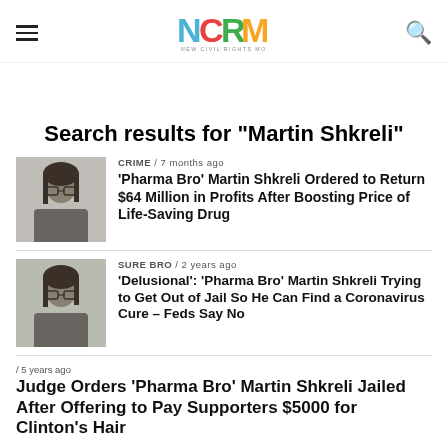NCRM – NEW CIVIL RIGHTS MOVEMENT
Search results for "Martin Shkreli"
[Figure (photo): Headshot of Martin Shkreli outdoors]
CRIME / 7 months ago
'Pharma Bro' Martin Shkreli Ordered to Return $64 Million in Profits After Boosting Price of Life-Saving Drug
[Figure (photo): Headshot of Martin Shkreli outdoors]
SURE BRO / 2 years ago
'Delusional': 'Pharma Bro' Martin Shkreli Trying to Get Out of Jail So He Can Find a Coronavirus Cure – Feds Say No
/ 5 years ago
Judge Orders 'Pharma Bro' Martin Shkreli Jailed After Offering to Pay Supporters $5000 for Clinton's Hair